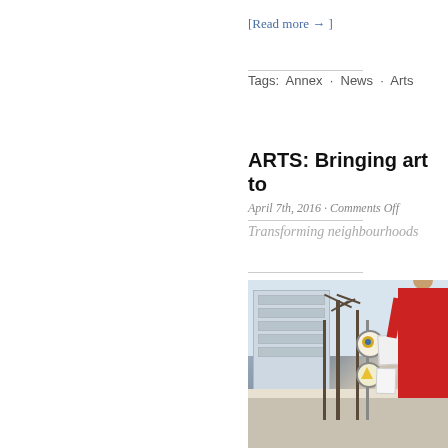[Read more →]
Tags:  Annex · News · Arts
ARTS: Bringing art to
April 7th, 2016 · Comments Off
Transforming neighbourhoods
[Figure (photo): Outdoor street scene with apartment buildings, bare trees, colorful art signs on posts, and a person in a red jacket]